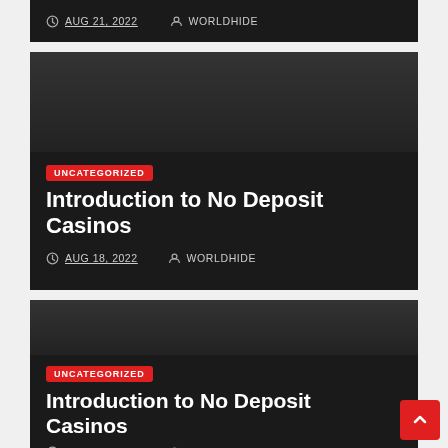AUG 21, 2022  WORLDHIDE
[Figure (screenshot): Dark card with category badge UNCATEGORIZED, title 'Introduction to No Deposit Casinos', date AUG 18, 2022, author WORLDHIDE]
[Figure (screenshot): Dark card with category badge UNCATEGORIZED, title 'Introduction to No Deposit Casinos', date AUG 12, 2022, author WORLDHIDE]